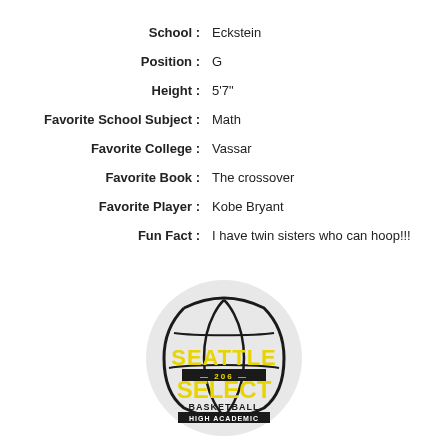School : Eckstein
Position : G
Height : 5'7"
Favorite School Subject : Math
Favorite College : Vassar
Favorite Book : The crossover
Favorite Player : Kobe Bryant
Fun Fact : I have twin sisters who can hoop!!!
[Figure (logo): Seattle Select Basketball High Academic logo — circular light gray background with basketball graphic, yellow and black text reading SEATTLE 206 SELECT BASKETBALL HIGH ACADEMIC]